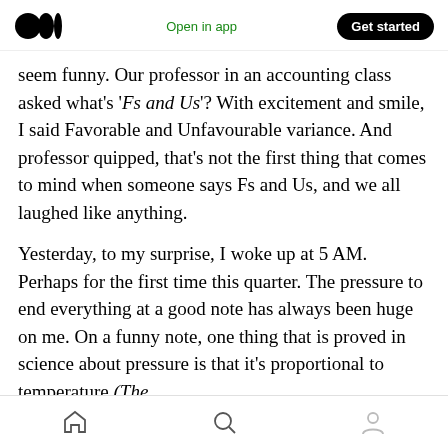Medium logo | Open in app | Get started
seem funny. Our professor in an accounting class asked what’s ‘Fs and Us’? With excitement and smile, I said Favorable and Unfavourable variance. And professor quipped, that’s not the first thing that comes to mind when someone says Fs and Us, and we all laughed like anything.
Yesterday, to my surprise, I woke up at 5 AM. Perhaps for the first time this quarter. The pressure to end everything at a good note has always been huge on me. On a funny note, one thing that is proved in science about pressure is that it’s proportional to temperature (The
Home | Search | Profile